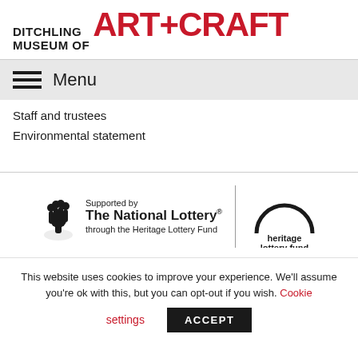DITCHLING MUSEUM OF ART+CRAFT
Menu
Staff and trustees
Environmental statement
[Figure (logo): The National Lottery supported by Heritage Lottery Fund logo]
This website uses cookies to improve your experience. We'll assume you're ok with this, but you can opt-out if you wish. Cookie settings ACCEPT